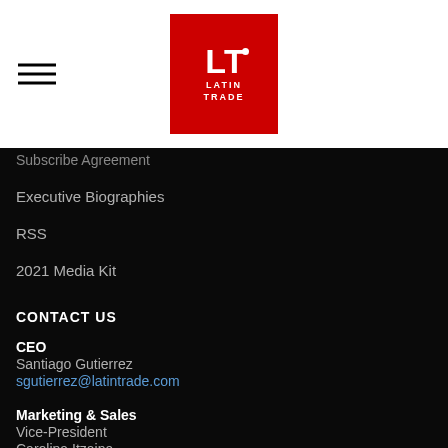[Figure (logo): Latin Trade logo — red square with LT initials and LATIN TRADE text below]
Subscribe Agreement
Executive Biographies
RSS
2021 Media Kit
CONTACT US
CEO
Santiago Gutierrez
sgutierrez@latintrade.com
Marketing & Sales
Vice-President
Carolina Itzaina
acitzaina@latintrade.com